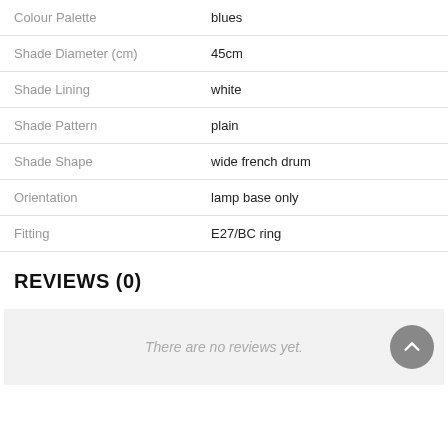| Attribute | Value |
| --- | --- |
| Colour Palette | blues |
| Shade Diameter (cm) | 45cm |
| Shade Lining | white |
| Shade Pattern | plain |
| Shade Shape | wide french drum |
| Orientation | lamp base only |
| Fitting | E27/BC ring |
REVIEWS (0)
There are no reviews yet.